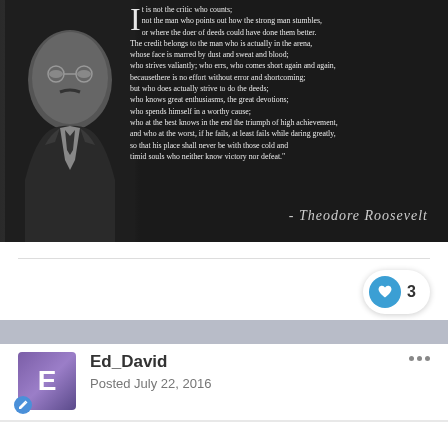[Figure (illustration): Black and white image of Theodore Roosevelt with a famous quote overlay. The quote reads: 'It is not the critic who counts; not the man who points out how the strong man stumbles, or where the doer of deeds could have done them better. The credit belongs to the man who is actually in the arena, whose face is marred by dust and sweat and blood; who strives valiantly; who errs, who comes short again and again, becausethere is no effort without error and shortcoming; but who does actually strive to do the deeds; who knows great enthusiasms, the great devotions; who spends himself in a worthy cause; who at the best knows in the end the triumph of high achievement, and who at the worst, if he fails, at least fails while daring greatly, so that his place shall never be with those cold and timid souls who neither know victory nor defeat.' Signed: - Theodore Roosevelt]
3
Ed_David
Posted July 22, 2016